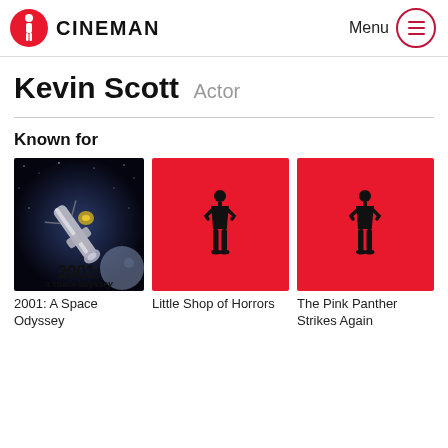CINEMAN  Menu
Kevin Scott  Actor
Known for
[Figure (photo): Movie poster for 2001: A Space Odyssey showing space station artwork with bold text '2001: a space odyssey']
2001: A Space Odyssey
[Figure (illustration): Red poster with black standing human silhouette for Little Shop of Horrors]
Little Shop of Horrors
[Figure (illustration): Red poster with black standing human silhouette for The Pink Panther Strikes Again]
The Pink Panther Strikes Again